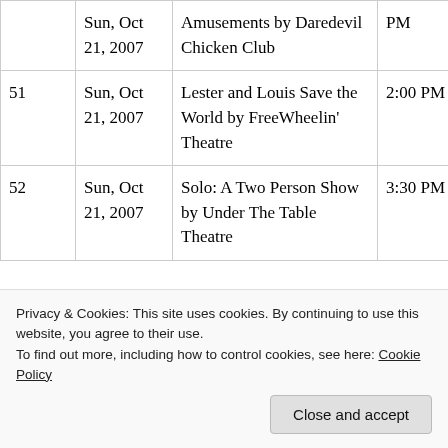| # | Date | Event | Time | Link |
| --- | --- | --- | --- | --- |
|  | Sun, Oct 21, 2007 | Amusements by Daredevil Chicken Club | PM |  |
| 51 | Sun, Oct 21, 2007 | Lester and Louis Save the World by FreeWheelin' Theatre | 2:00 PM |  |
| 52 | Sun, Oct 21, 2007 | Solo: A Two Person Show by Under The Table Theatre | 3:30 PM | CLICK HERE |
Privacy & Cookies: This site uses cookies. By continuing to use this website, you agree to their use.
To find out more, including how to control cookies, see here: Cookie Policy